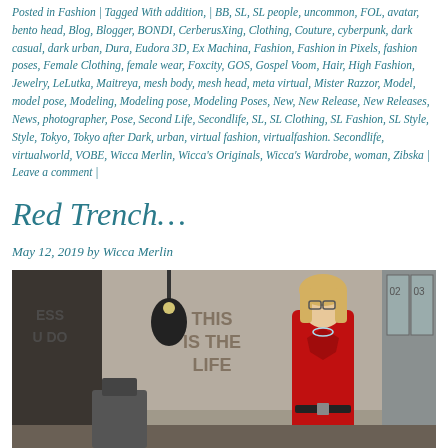Posted in Fashion | Tagged With addition, | BB, SL, SL people, uncommon, FOL, avatar, bento head, Blog, Blogger, BONDI, CerberusXing, Clothing, Couture, cyberpunk, dark casual, dark urban, Dura, Eudora 3D, Ex Machina, Fashion, Fashion in Pixels, fashion poses, Female Clothing, female wear, Foxcity, GOS, Gospel Voom, Hair, High Fashion, Jewelry, LeLutka, Maitreya, mesh body, mesh head, meta virtual, Mister Razzor, Model, model pose, Modeling, Modeling pose, Modeling Poses, New, New Release, New Releases, News, photographer, Pose, Second Life, Secondlife, SL, SL Clothing, SL Fashion, SL Style, Style, Tokyo, Tokyo after Dark, urban, virtual fashion, virtualfashion.Secondlife, virtualworld, VOBE, Wicca Merlin, Wicca's Originals, Wicca's Wardrobe, woman, Zibska | Leave a comment |
Red Trench…
May 12, 2019 by Wicca Merlin
[Figure (photo): A Second Life avatar woman in a red trench coat and glasses standing in an industrial/locker room setting with text on wall reading 'THIS IS THE LIFE']